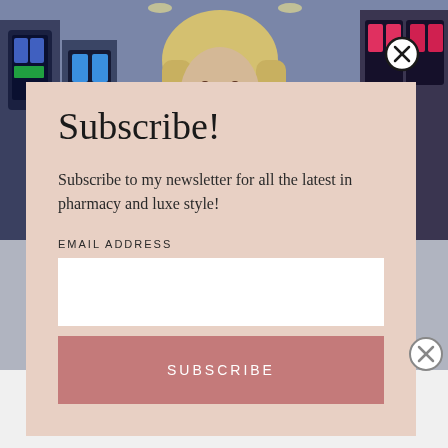[Figure (photo): Background photo of a casino floor with slot machines and a blonde woman in the foreground]
Subscribe!
Subscribe to my newsletter for all the latest in pharmacy and luxe style!
EMAIL ADDRESS
SUBSCRIBE
Advertisements